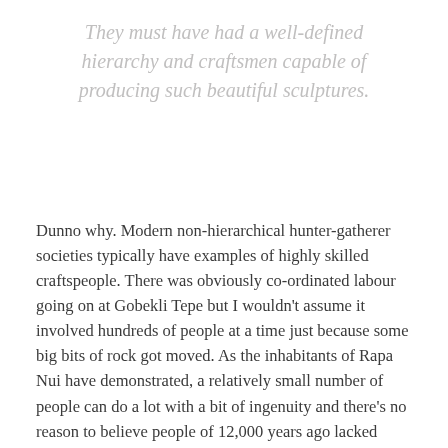They must have had a well-defined hierarchy and craftsmen capable of producing such beautiful sculptures.
Dunno why. Modern non-hierarchical hunter-gatherer societies typically have examples of highly skilled craftspeople. There was obviously co-ordinated labour going on at Gobekli Tepe but I wouldn't assume it involved hundreds of people at a time just because some big bits of rock got moved. As the inhabitants of Rapa Nui have demonstrated, a relatively small number of people can do a lot with a bit of ingenuity and there's no reason to believe people of 12,000 years ago lacked ingenuity. And as the Indus Valley ruins attest, people are capable of building and maintaining sophisticated public works without the need for social stratification.